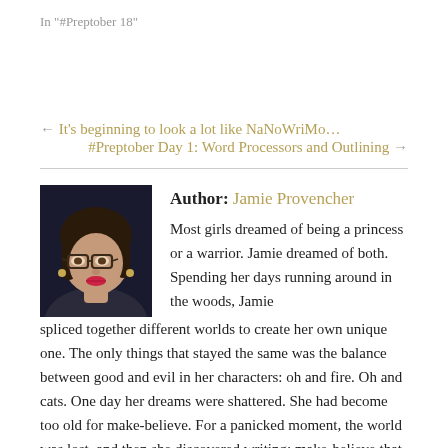In "#Preptober 18"
← It's beginning to look a lot like NaNoWriMo…
#Preptober Day 1: Word Processors and Outlining →
[Figure (photo): Portrait photo of Jamie Provencher, a woman with glasses and red lipstick against a dark background]
Author: Jamie Provencher
Most girls dreamed of being a princess or a warrior. Jamie dreamed of both. Spending her days running around in the woods, Jamie spliced together different worlds to create her own unique one. The only things that stayed the same was the balance between good and evil in her characters: oh and fire. Oh and cats. One day her dreams were shattered. She had become too old for make-believe. For a panicked moment, the world was lost, and then she discovered writing: make-believe that was accepted. Even with a strong background of video games and 80's cartoons, she was really only interested in talking animals. One fateful date in 6th grade, the 11 year old Jamie was forced to